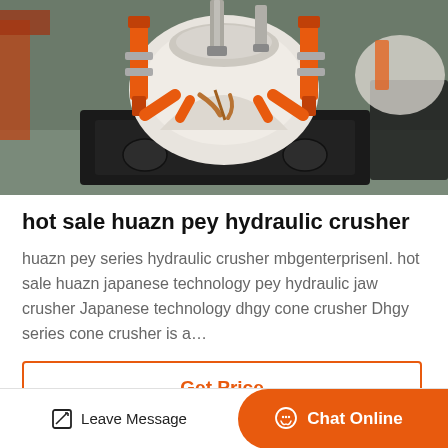[Figure (photo): Industrial hydraulic cone crusher machine with orange and white body on a black base, photographed in a factory setting]
hot sale huazn pey hydraulic crusher
huazn pey series hydraulic crusher mbgenterprisenl. hot sale huazn japanese technology pey hydraulic jaw crusher Japanese technology dhgy cone crusher Dhgy series cone crusher is a…
Get Price
Leave Message  Chat Online